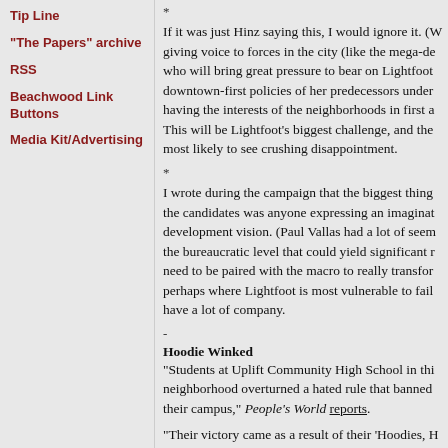Tip Line
"The Papers" archive
RSS
Beachwood Link Buttons
Media Kit/Advertising
*
If it was just Hinz saying this, I would ignore it. (W... giving voice to forces in the city (like the mega-de... who will bring great pressure to bear on Lightfoot... downtown-first policies of her predecessors under... having the interests of the neighborhoods in first a... This will be Lightfoot's biggest challenge, and the... most likely to see crushing disappointment.
*
I wrote during the campaign that the biggest thing... the candidates was anyone expressing an imaginat... development vision. (Paul Vallas had a lot of seem... the bureaucratic level that could yield significant r... need to be paired with the macro to really transfor... perhaps where Lightfoot is most vulnerable to fail... have a lot of company.
-
Hoodie Winked
"Students at Uplift Community High School in thi... neighborhood overturned a hated rule that banned... their campus," People's World reports.
"Their victory came as a result of their 'Hoodies, H... campaign. The campaign was just one of scores of... projects that high schoolers throughout Chicago ha... all year under the guidance of the Mikva Challeng... program encouraging youth participation in civic a...